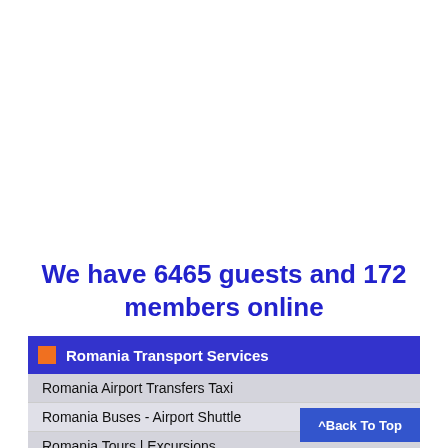We have 6465 guests and 172 members online
Romania Transport Services
Romania Airport Transfers Taxi
Romania Buses - Airport Shuttle
Romania Tours | Excursions
Romania Car Rentals
Romania Limousines - Luxury Sedan Services